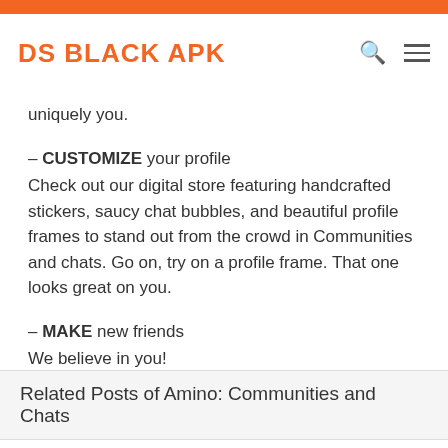DS BLACK APK
uniquely you.
– CUSTOMIZE your profile
Check out our digital store featuring handcrafted stickers, saucy chat bubbles, and beautiful profile frames to stand out from the crowd in Communities and chats. Go on, try on a profile frame. That one looks great on you.
– MAKE new friends
We believe in you!
Bug fixes.
Related Posts of Amino: Communities and Chats
Ma CNSS
★